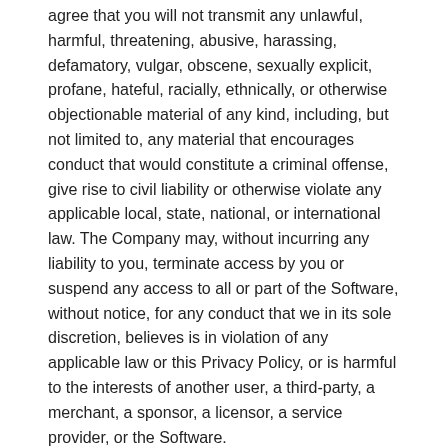agree that you will not transmit any unlawful, harmful, threatening, abusive, harassing, defamatory, vulgar, obscene, sexually explicit, profane, hateful, racially, ethnically, or otherwise objectionable material of any kind, including, but not limited to, any material that encourages conduct that would constitute a criminal offense, give rise to civil liability or otherwise violate any applicable local, state, national, or international law. The Company may, without incurring any liability to you, terminate access by you or suspend any access to all or part of the Software, without notice, for any conduct that we in its sole discretion, believes is in violation of any applicable law or this Privacy Policy, or is harmful to the interests of another user, a third-party, a merchant, a sponsor, a licensor, a service provider, or the Software.
Contact the Company
If you have any questions or concerns with respect to any matter covered by this Privacy Policy, you may contact our Data Protection Officer by email at: relaxteam2018@gmail.com